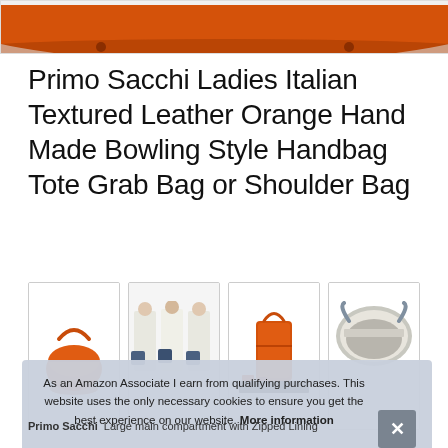[Figure (photo): Top portion of an orange leather handbag against white background, partially cropped]
Primo Sacchi Ladies Italian Textured Leather Orange Hand Made Bowling Style Handbag Tote Grab Bag or Shoulder Bag
[Figure (photo): Four product thumbnail images: 1) Orange leather bowling bag solo, 2) Three women in white holding blue handbags, 3) Orange bag standing upright on dark surface, 4) Interior view of a grey/blue bag]
As an Amazon Associate I earn from qualifying purchases. This website uses the only necessary cookies to ensure you get the best experience on our website. More information
Primo Sacchi  Large main compartment with Zipped Lining